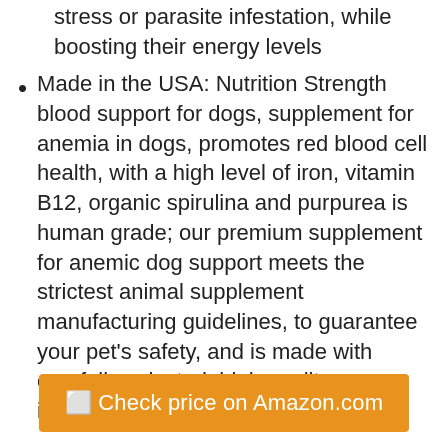stress or parasite infestation, while boosting their energy levels
Made in the USA: Nutrition Strength blood support for dogs, supplement for anemia in dogs, promotes red blood cell health, with a high level of iron, vitamin B12, organic spirulina and purpurea is human grade; our premium supplement for anemic dog support meets the strictest animal supplement manufacturing guidelines, to guarantee your pet's safety, and is made with carefully selected, high quality ingredients
🔲 Check price on Amazon.com